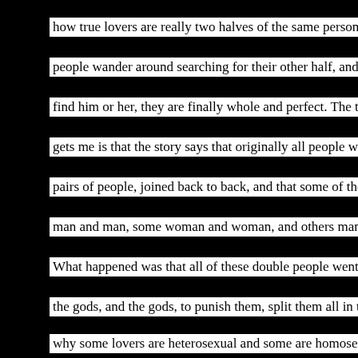how true lovers are really two halves of the same person. It says that
people wander around searching for their other half, and when they
find him or her, they are finally whole and perfect. The thing that
gets me is that the story says that originally all people were really
pairs of people, joined back to back, and that some of the pairs were
man and man, some woman and woman, and others man and woman.
What happened was that all of these double people went to war with
the gods, and the gods, to punish them, split them all in two. That’s
why some lovers are heterosexual and some are homosexual, female